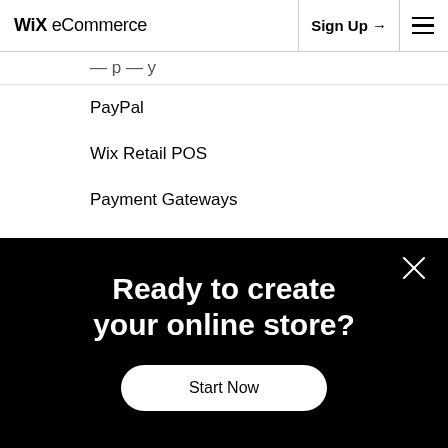Wix eCommerce | Sign Up →  ☰
PayPal
Wix Retail POS
Payment Gateways
Credit/Debit
Buy Now, Pay Later
Manual Payments
Ready to create your online store?
Start Now